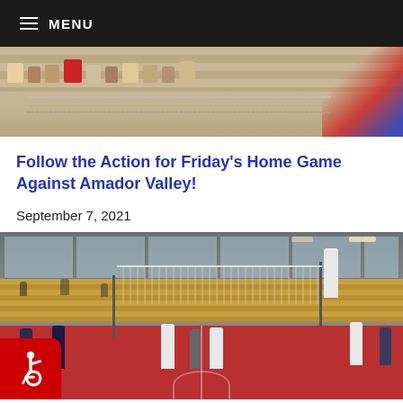MENU
[Figure (photo): Top partial photo showing bleachers with spectators' feet and legs visible, and red/blue colored material on the right side]
Follow the Action for Friday’s Home Game Against Amador Valley!
September 7, 2021
[Figure (photo): Volleyball game photo inside a gymnasium showing players in white uniforms at the net, bleachers in the background, and an accessibility icon in the bottom-left corner]